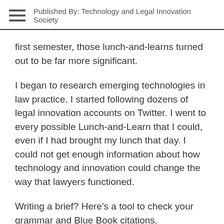Published By: Technology and Legal Innovation Society
first semester, those lunch-and-learns turned out to be far more significant.
I began to research emerging technologies in law practice. I started following dozens of legal innovation accounts on Twitter. I went to every possible Lunch-and-Learn that I could, even if I had brought my lunch that day. I could not get enough information about how technology and innovation could change the way that lawyers functioned.
Writing a brief? Here’s a tool to check your grammar and Blue Book citations. Researching cases to argue in court? Here is an artificial intelligence tool that